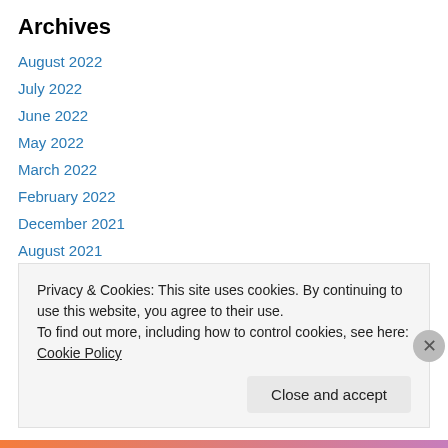Archives
August 2022
July 2022
June 2022
May 2022
March 2022
February 2022
December 2021
August 2021
July 2021
June 2021
May 2021
March 2021
Privacy & Cookies: This site uses cookies. By continuing to use this website, you agree to their use.
To find out more, including how to control cookies, see here: Cookie Policy
Close and accept